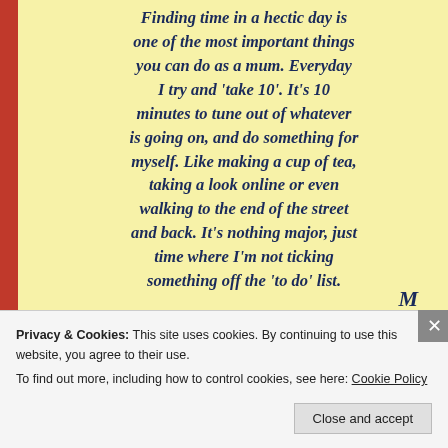[Figure (photo): A yellow sticky note or notepad page with a red stripe on the left side, containing handwritten italic text in dark navy blue reading a quote about finding time in a hectic day, taking 10 minutes for oneself, ending with a signature initial 'M']
Privacy & Cookies: This site uses cookies. By continuing to use this website, you agree to their use.
To find out more, including how to control cookies, see here: Cookie Policy
Close and accept